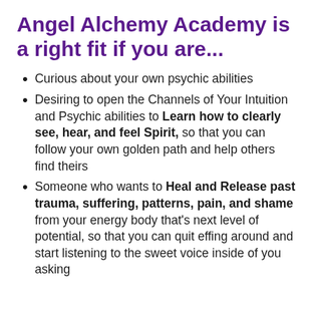Angel Alchemy Academy is a right fit if you are...
Curious about your own psychic abilities
Desiring to open the Channels of Your Intuition and Psychic abilities to Learn how to clearly see, hear, and feel Spirit, so that you can follow your own golden path and help others find theirs
Someone who wants to Heal and Release past trauma, suffering, patterns, pain, and shame from your energy body that's next level of potential, so that you can quit effing around and start listening to the sweet voice inside of you asking